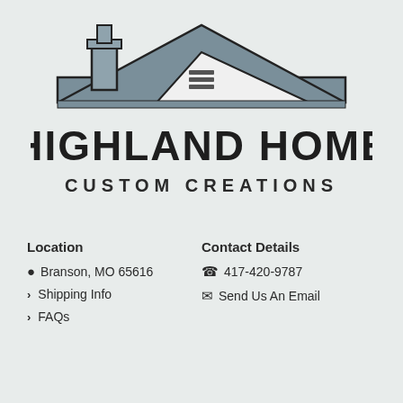[Figure (logo): Highland Home Custom Creations logo — a house silhouette with grey roof and chimney, with the text HIGHLAND HOME in large bold dark letters and CUSTOM CREATIONS in spaced capitals below]
Location
Contact Details
📍 Branson, MO 65616
📞 417-420-9787
Shipping Info
✉ Send Us An Email
FAQs